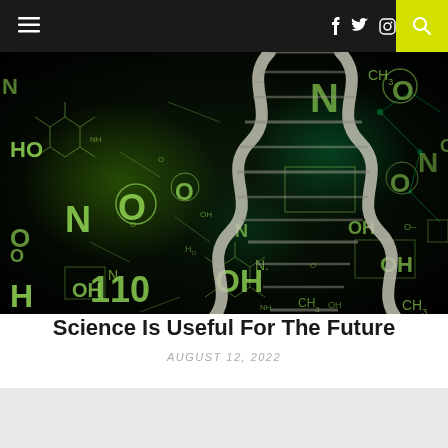≡  f  𝕏  ⊙  🔍
[Figure (illustration): Dark background scientific illustration featuring a DNA double helix structure in the center-right, surrounded by glowing green chemical formulas, molecular structures, hexagonal patterns, and scientific notation on a black background. Chemical symbols include HO, N, O, OH, H, CH3 among others.]
Science Is Useful For The Future
AUGUST 12, 2022